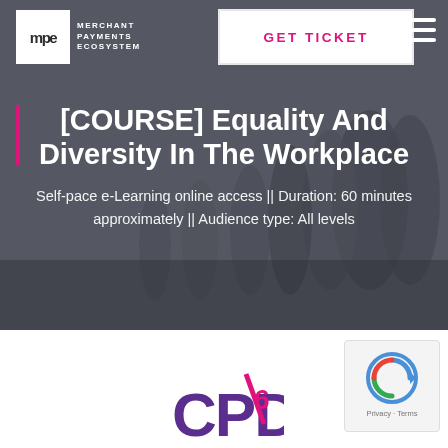[Figure (screenshot): Hero banner with blurred crowd background, MPE logo, GET TICKET button, hamburger menu, and course title overlay]
| [COURSE] Equality And Diversity In The Workplace
Self-pace e-Learning online access || Duration: 60 minutes approximately || Audience type: All levels
[Figure (logo): CPD logo in purple and magenta]
[Figure (other): reCAPTCHA Privacy - Terms badge]